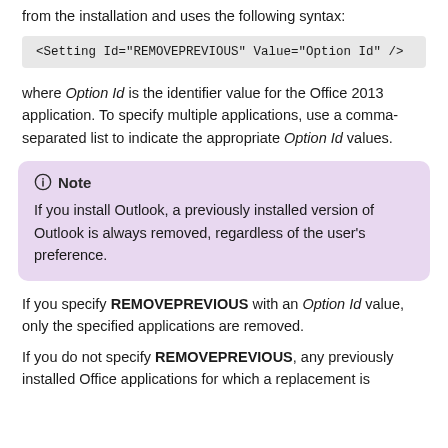from the installation and uses the following syntax:
<Setting Id="REMOVEPREVIOUS" Value="Option Id" />
where Option Id is the identifier value for the Office 2013 application. To specify multiple applications, use a comma-separated list to indicate the appropriate Option Id values.
Note
If you install Outlook, a previously installed version of Outlook is always removed, regardless of the user's preference.
If you specify REMOVEPREVIOUS with an Option Id value, only the specified applications are removed.
If you do not specify REMOVEPREVIOUS, any previously installed Office applications for which a replacement is